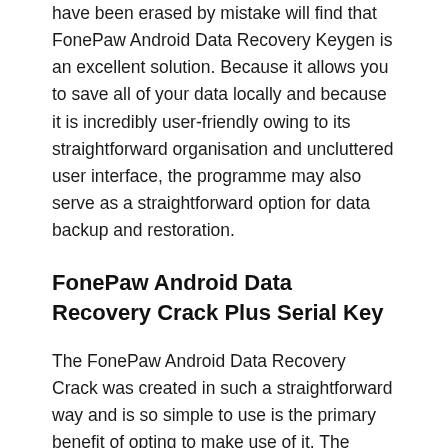have been erased by mistake will find that FonePaw Android Data Recovery Keygen is an excellent solution. Because it allows you to save all of your data locally and because it is incredibly user-friendly owing to its straightforward organisation and uncluttered user interface, the programme may also serve as a straightforward option for data backup and restoration.
FonePaw Android Data Recovery Crack Plus Serial Key
The FonePaw Android Data Recovery Crack was created in such a straightforward way and is so simple to use is the primary benefit of opting to make use of it. The application is incredibly user-